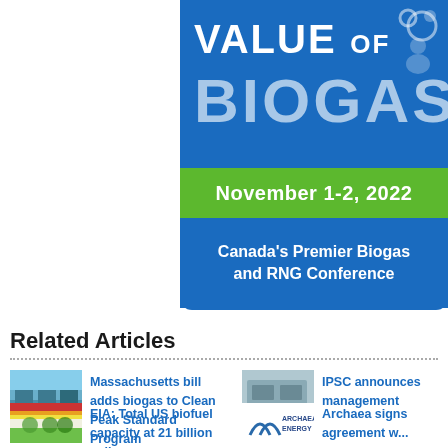[Figure (logo): Value of Biogas conference banner with blue background, green date bar, and subtitle. Shows 'VALUE OF BIOGAS' text with bubbles graphic, 'November 1-2, 2022' in green bar, and 'Canada's Premier Biogas and RNG Conference' subtitle.]
Related Articles
Massachusetts bill adds biogas to Clean Peak Standard Program
EIA: Total US biofuel capacity at 21 billion gallons per year
IPSC announces management...
Archaea signs agreement w...